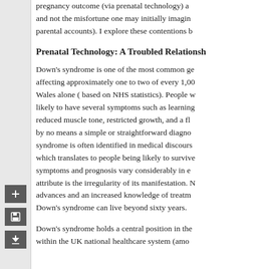pregnancy outcome (via prenatal technology) and not the misfortune one may initially imagine (parental accounts). I explore these contentions b
Prenatal Technology: A Troubled Relationsh
Down's syndrome is one of the most common ge affecting approximately one to two of every 1,00 Wales alone (based on NHS statistics). People w likely to have several symptoms such as learning reduced muscle tone, restricted growth, and a fl by no means a simple or straightforward diagno syndrome is often identified in medical discours which translates to people being likely to survive symptoms and prognosis vary considerably in e attribute is the irregularity of its manifestation. N advances and an increased knowledge of treatm Down's syndrome can live beyond sixty years.
Down's syndrome holds a central position in the within the UK national healthcare system (amo